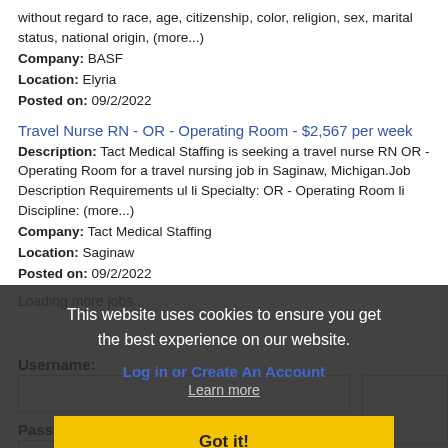without regard to race, age, citizenship, color, religion, sex, marital status, national origin, (more...)
Company: BASF
Location: Elyria
Posted on: 09/2/2022
Travel Nurse RN - OR - Operating Room - $2,567 per week
Description: Tact Medical Staffing is seeking a travel nurse RN OR - Operating Room for a travel nursing job in Saginaw, Michigan.Job Description Requirements ul li Specialty: OR - Operating Room li Discipline: (more...)
Company: Tact Medical Staffing
Location: Saginaw
Posted on: 09/2/2022
Loading more jobs...
This website uses cookies to ensure you get the best experience on our website.
Log in or Create An Account
Learn more
Got it!
Username:
Password: